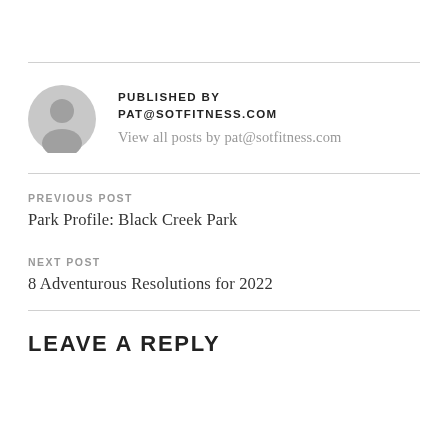PUBLISHED BY PAT@SOTFITNESS.COM
View all posts by pat@sotfitness.com
PREVIOUS POST
Park Profile: Black Creek Park
NEXT POST
8 Adventurous Resolutions for 2022
LEAVE A REPLY